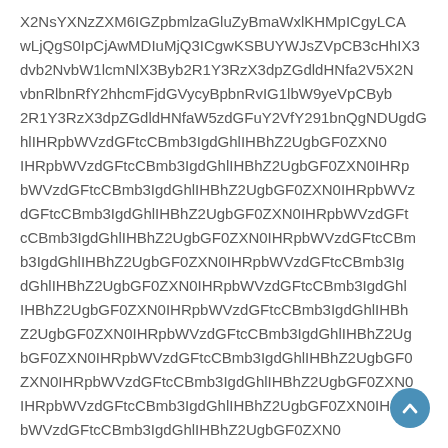X2NsYXNzZXM6IGZpbmlzaGluZyBmaWxlKHMpICgyLCAwwLjQgS0IpCjAwMDIuMjQ3ICgwKSBUYWJsZVpCB3cHhIX3dvb2NvbWVlcmNlX3Byb2R1Y3RzX3dpZGdldHNfa2V5X2NvbnRlbnRfY2hhcmFjdGVycyBpbnRvIG1lbW9yeVpCByb2R1Y3RzX3dpZGdldHNfaW5zdGFuY2VfY291bnQgNDUgdGhlIHRpbWVzdGFtcCBmb3IgdGhlIHBhZ2UgbGF0ZXN0IHRpbWVzdGFtcCBmb3IgdGhlIHBhZ2UgbGF0ZXN0IHRpbWVzdGFtcCBmb3IgdGhlIHBhZ2UgbGF0ZXN0IHRpbWVzdGFtcCBmb3IgdGhlIHBhZ2UgbGF0ZXN0IHRpbWVzdGFtcCBmb3IgdGhlIHBhZ2UgbGF0ZXN0IHRpbWVzdGFtcCBmb3IgdGhlIHBhZ2UgbGF0ZXN0IHRpbWVzdGFtcCBmb3IgdGhlIHBhZ2UgbGF0ZXN0